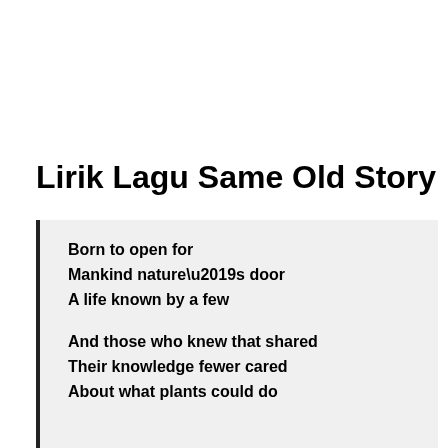Lirik Lagu Same Old Story
Born to open for
Mankind nature’s door
A life known by a few

And those who knew that shared
Their knowledge fewer cared
About what plants could do